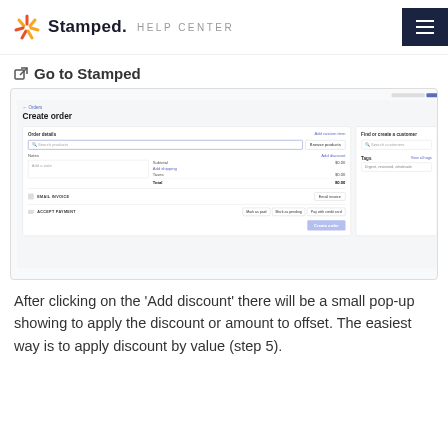Stamped HELP CENTER
Go to Stamped
[Figure (screenshot): Screenshot of a Shopify-like 'Create order' interface showing order details panel with search products, notes, discount, subtotal $0.00, shipping, taxes $0.00, total $0.00, and a right panel for Find or create a customer and Tags. Bottom shows EMAIL INVOICE and ACCEPT PAYMENT sections with action buttons.]
After clicking on the 'Add discount' there will be a small pop-up showing to apply the discount or amount to offset. The easiest way is to apply discount by value (step 5).